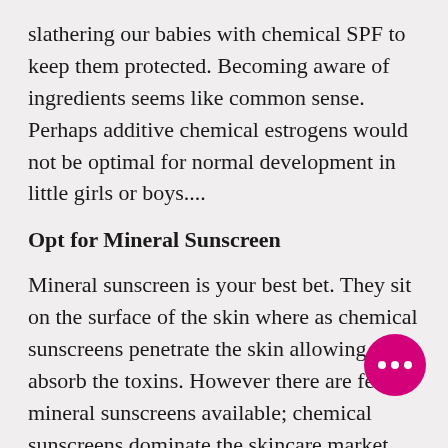slathering our babies with chemical SPF to keep them protected. Becoming aware of ingredients seems like common sense. Perhaps additive chemical estrogens would not be optimal for normal development in little girls or boys....
Opt for Mineral Sunscreen
Mineral sunscreen is your best bet. They sit on the surface of the skin where as chemical sunscreens penetrate the skin allowing it to absorb the toxins. However there are few mineral sunscreens available; chemical sunscreens dominate the skincare market. You